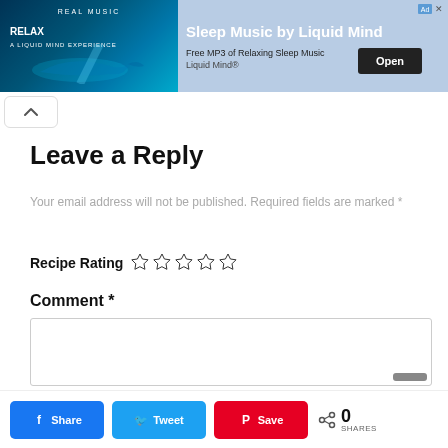[Figure (screenshot): Advertisement banner for 'Sleep Music by Liquid Mind' app. Shows album art with whale and text 'RELAX' on left, ad text 'Sleep Music by Liquid Mind', 'Free MP3 of Relaxing Sleep Music', 'Liquid Mind®' and 'Open' button on right.]
Leave a Reply
Your email address will not be published. Required fields are marked *
Recipe Rating ☆☆☆☆☆
Comment *
[Figure (screenshot): Comment text input box with scrollbar handle visible at bottom right.]
[Figure (infographic): Social share bar with Facebook, Twitter, Pinterest buttons and share count showing 0 SHARES.]